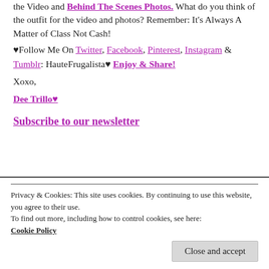the Video and Behind The Scenes Photos. What do you think of the outfit for the video and photos? Remember: It's Always A Matter of Class Not Cash!
♥Follow Me On Twitter, Facebook, Pinterest, Instagram & Tumblr: HauteFrugalista♥ Enjoy & Share!
Xoxo,
Dee Trillo♥
Subscribe to our newsletter
Privacy & Cookies: This site uses cookies. By continuing to use this website, you agree to their use.
To find out more, including how to control cookies, see here: Cookie Policy
Close and accept